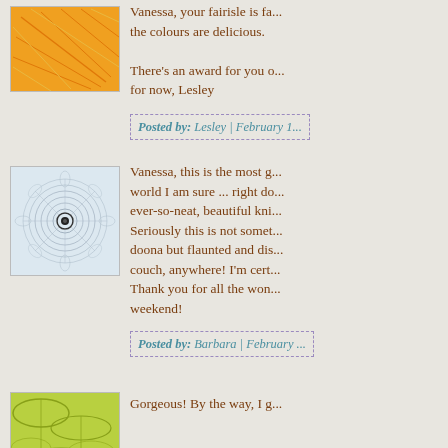[Figure (illustration): Orange geometric/abstract avatar thumbnail with network pattern]
Vanessa, your fairisle is fa... the colours are delicious.
There's an award for you o... for now, Lesley
Posted by: Lesley | February 1...
[Figure (illustration): Blue/grey spirograph circular pattern avatar thumbnail]
Vanessa, this is the most g... world I am sure ... right do... ever-so-neat, beautiful kni... Seriously this is not somet... doona but flaunted and dis... couch, anywhere! I'm cert... Thank you for all the won... weekend!
Posted by: Barbara | February ...
[Figure (illustration): Green leaf/organic pattern avatar thumbnail]